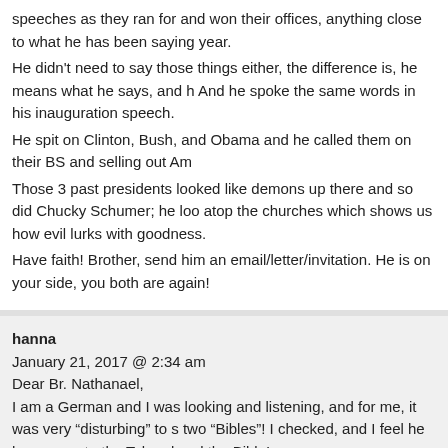speeches as they ran for and won their offices, anything close to what he has been saying year.
He didn't need to say those things either, the difference is, he means what he says, and he And he spoke the same words in his inauguration speech.
He spit on Clinton, Bush, and Obama and he called them on their BS and selling out Am
Those 3 past presidents looked like demons up there and so did Chucky Schumer; he loo atop the churches which shows us how evil lurks with goodness.
Have faith! Brother, send him an email/letter/invitation. He is on your side, you both are again!
hanna
January 21, 2017 @ 2:34 am
Dear Br. Nathanael,
I am a German and I was looking and listening, and for me, it was very “disturbing” to s two “Bibles”! I checked, and I feel he has sworn to the Talmud and the Bible!
Didn’t you see the big rosy-red book below the Bible?
And the German commentators said very clear that Ivanka and her husband will move to there.. they dont take any “salary” they do it for free! The wife of Pr. Trump will stay in